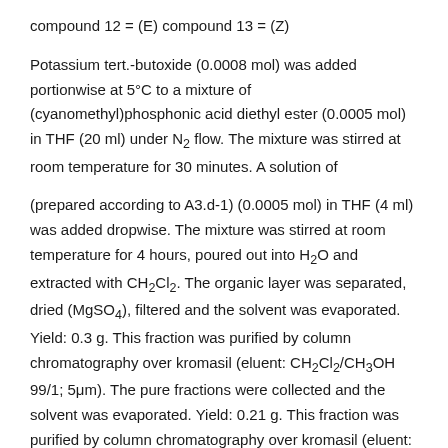compound 12 = (E) compound 13 = (Z)
Potassium tert.-butoxide (0.0008 mol) was added portionwise at 5°C to a mixture of (cyanomethyl)phosphonic acid diethyl ester (0.0005 mol) in THF (20 ml) under N₂ flow. The mixture was stirred at room temperature for 30 minutes. A solution of
(prepared according to A3.d-1) (0.0005 mol) in THF (4 ml) was added dropwise. The mixture was stirred at room temperature for 4 hours, poured out into H₂O and extracted with CH₂Cl₂. The organic layer was separated, dried (MgSO₄), filtered and the solvent was evaporated. Yield: 0.3 g. This fraction was purified by column chromatography over kromasil (eluent: CH₂Cl₂/CH₃OH 99/1; 5μm). The pure fractions were collected and the solvent was evaporated. Yield: 0.21 g. This fraction was purified by column chromatography over kromasil (eluent: cyclohexane/ethyl acetate 50/50; lOμm). Two fractions (Fl, F2) were collected and the solvent was evaporated. Yield: 0.04 g of Fl and 0.047 g F2. Fl was dried at 70°C for 2 hours. Yield: 0.038 g of compound 13 (18%). F2 was dried